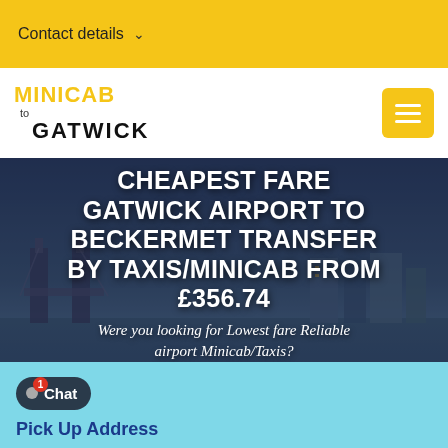Contact details
MINICAB to GATWICK
[Figure (screenshot): Hero image with London skyline/Tower Bridge background with large white overlay text advertising cheapest fare from Gatwick Airport to Beckermet]
CHEAPEST FARE GATWICK AIRPORT TO BECKERMET TRANSFER BY TAXIS/MINICAB FROM £356.74
Were you looking for Lowest fare Reliable airport Minicab/Taxis? You've just found one
Pick Up Address